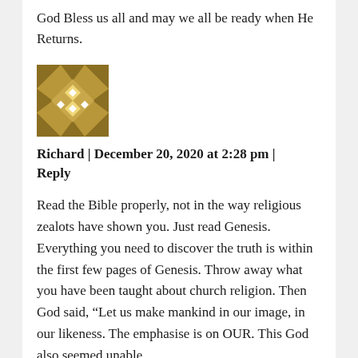God Bless us all and may we all be ready when He Returns.
[Figure (illustration): Gold/tan geometric quilt-pattern avatar icon, square with triangular and diamond shapes]
Richard | December 20, 2020 at 2:28 pm | Reply
Read the Bible properly, not in the way religious zealots have shown you. Just read Genesis. Everything you need to discover the truth is within the first few pages of Genesis. Throw away what you have been taught about church religion. Then God said, “Let us make mankind in our image, in our likeness. The emphasise is on OUR. This God also seemed unable